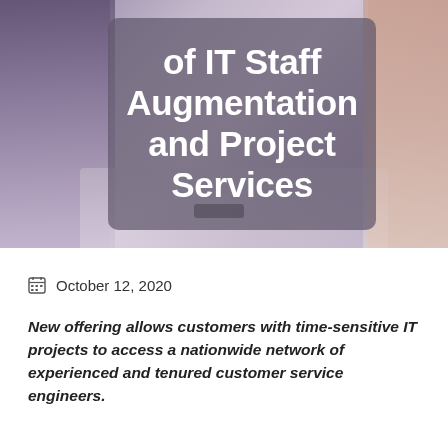[Figure (photo): Hero image of IT professionals at a desk, with a semi-transparent dark overlay box containing white bold text reading 'of IT Staff Augmentation and Project Services']
of IT Staff Augmentation and Project Services
October 12, 2020
New offering allows customers with time-sensitive IT projects to access a nationwide network of experienced and tenured customer service engineers.